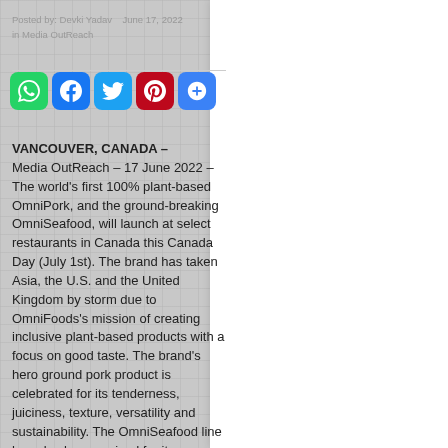Posted by: Devki Yadav   June 17, 2022
in Media OutReach
[Figure (infographic): Social sharing buttons: WhatsApp (green), Facebook (blue), Twitter (light blue), Pinterest (red), More/Plus (blue)]
VANCOUVER, CANADA – Media OutReach – 17 June 2022 – The world's first 100% plant-based OmniPork, and the ground-breaking OmniSeafood, will launch at select restaurants in Canada this Canada Day (July 1st). The brand has taken Asia, the U.S. and the United Kingdom by storm due to OmniFoods's mission of creating inclusive plant-based products with a focus on good taste. The brand's hero ground pork product is celebrated for its tenderness, juiciness, texture, versatility and sustainability. The OmniSeafood line has also been praised for its